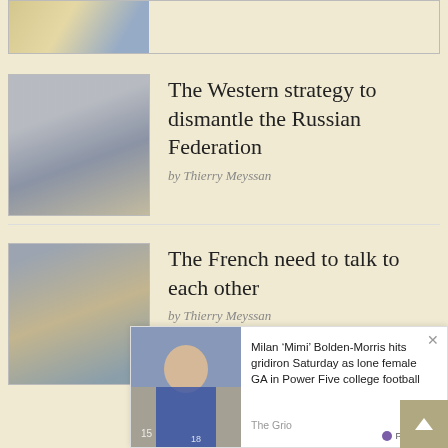[Figure (photo): Partial thumbnail image at top, cropped, showing a colorful scene]
[Figure (photo): Thumbnail of a large indoor auditorium or concert hall with audience]
The Western strategy to dismantle the Russian Federation
by Thierry Meyssan
[Figure (photo): Thumbnail of an outdoor event or rally with crowd and flags]
The French need to talk to each other
by Thierry Meyssan
[Figure (photo): Ad photo: Milan 'Mimi' Bolden-Morris in sports context]
Milan ‘Mimi’ Bolden-Morris hits gridiron Saturday as lone female GA in Power Five college football
The Grio
PurpleAds